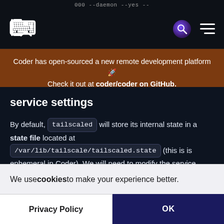000 --daemon --yes --
[Figure (logo): Coder logo icon — stylized code brackets with person icon]
Coder has open-sourced a new remote development platform 🚀 Check it out at coder/coder on GitHub.
service settings
By default, tailscaled will store its internal state in a state file located at /var/lib/tailscale/tailscaled.state (this is is ephemeral in Coder). We will need to modify the service settings to:
We use cookies to make your experience better.
Privacy Policy
OK